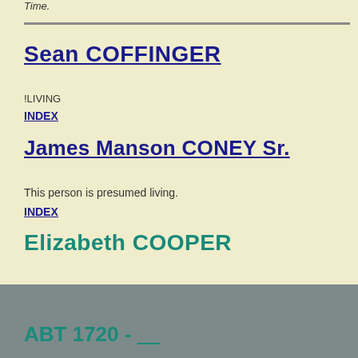Time.
Sean COFFINGER
!LIVING
INDEX
James Manson CONEY Sr.
This person is presumed living.
INDEX
Elizabeth COOPER
ABT 1720 - ____